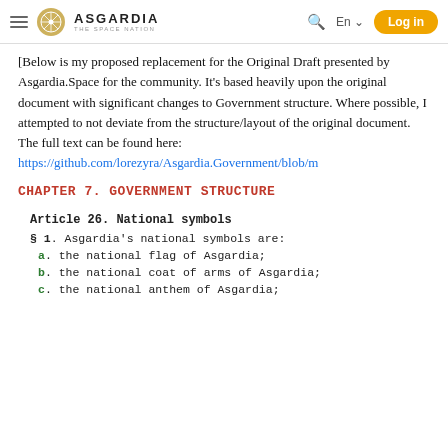Asgardia – The Space Nation | En | Log in
[Below is my proposed replacement for the Original Draft presented by Asgardia.Space for the community. It's based heavily upon the original document with significant changes to Government structure. Where possible, I attempted to not deviate from the structure/layout of the original document. The full text can be found here: https://github.com/lorezyra/Asgardia.Government/blob/m
CHAPTER 7. GOVERNMENT STRUCTURE
Article 26. National symbols
§ 1. Asgardia's national symbols are:
a. the national flag of Asgardia;
b. the national coat of arms of Asgardia;
c. the national anthem of Asgardia;